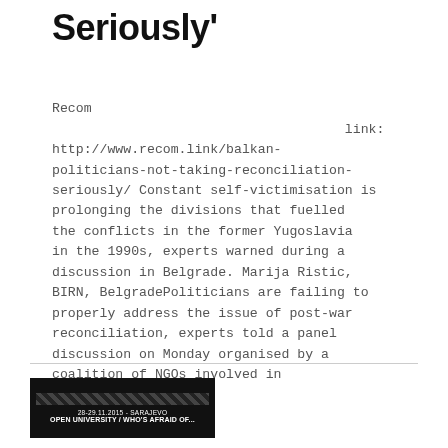Seriously'
Recom link: http://www.recom.link/balkan-politicians-not-taking-reconciliation-seriously/ Constant self-victimisation is prolonging the divisions that fuelled the conflicts in the former Yugoslavia in the 1990s, experts warned during a discussion in Belgrade. Marija Ristic, BIRN, BelgradePoliticians are failing to properly address the issue of post-war reconciliation, experts told a panel discussion on Monday organised by a coalition of NGOs involved in campaigning[...]
[Figure (other): Footer banner image with diagonal stripe pattern and text: 28-29.11.2015 - SARAJEVO, OPEN UNIVERSITY / WHO'S AFRAID OF...]